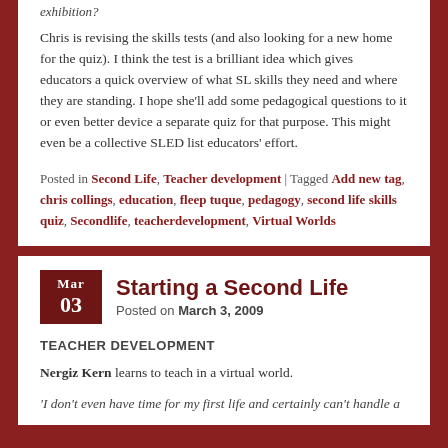exhibition?
Chris is revising the skills tests (and also looking for a new home for the quiz). I think the test is a brilliant idea which gives educators a quick overview of what SL skills they need and where they are standing. I hope she'll add some pedagogical questions to it or even better device a separate quiz for that purpose. This might even be a collective SLED list educators' effort.
Posted in Second Life, Teacher development | Tagged Add new tag, chris collings, education, fleep tuque, pedagogy, second life skills quiz, Secondlife, teacherdevelopment, Virtual Worlds
Starting a Second Life
Posted on March 3, 2009
TEACHER DEVELOPMENT
Nergiz Kern learns to teach in a virtual world.
'I don't even have time for my first life and certainly can't handle a